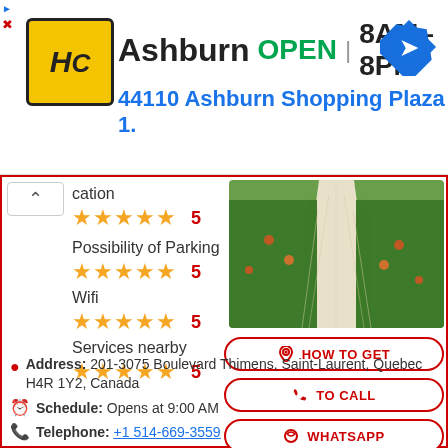[Figure (infographic): Ad banner: HC logo (yellow/black), Ashburn OPEN 8AM-8PM, 44110 Ashburn Shopping Plaza 1., blue navigation arrow icon]
[Figure (photo): Greenhouse interior with rows of plants/vegetables, pathway down center]
Location
★★★★★  5
Possibility of Parking
★★★★★  5
Wifi
★★★★★  5
Services nearby
★★★★★  5
HOW TO GET
TO CALL
WHATSAPP
WEB PAGE
Address: 201-3075 Boulevard Thimens, Saint-Laurent, Quebec H4R 1Y2, Canada
Schedule: Opens at 9:00 AM
Telephone: +1 514-669-3559